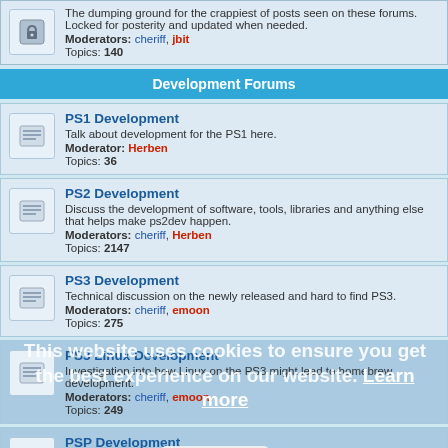The dumping ground for the crappiest of posts seen on these forums. Locked for posterity and updated when needed. Moderators: cheriff, jbit Topics: 140
Development Forums
PS1 Development - Talk about development for the PS1 here. Moderator: Herben Topics: 36
PS2 Development - Discuss the development of software, tools, libraries and anything else that helps make ps2dev happen. Moderators: cheriff, Herben Topics: 2147
PS3 Development - Technical discussion on the newly released and hard to find PS3. Moderators: cheriff, emoon Topics: 275
PS3 Linux Development - Investigation into how Linux on the PS3 might lead to homebrew development. Moderators: cheriff, emoon Topics: 249
PSP Development - Discuss the development of new homebrew software, tools and libraries. Moderators: cheriff, TyRaNiD Topics: 6759
PSP Linux Player Development (partial)